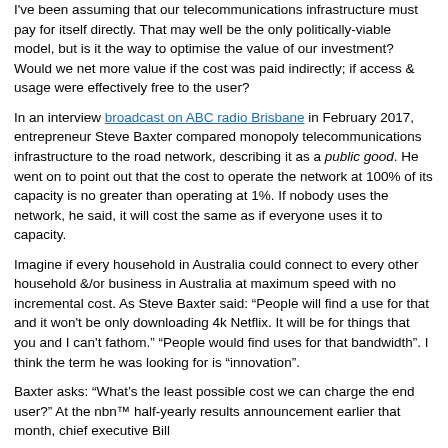I've been assuming that our telecommunications infrastructure must pay for itself directly. That may well be the only politically-viable model, but is it the way to optimise the value of our investment? Would we net more value if the cost was paid indirectly; if access & usage were effectively free to the user?
In an interview broadcast on ABC radio Brisbane in February 2017, entrepreneur Steve Baxter compared monopoly telecommunications infrastructure to the road network, describing it as a public good. He went on to point out that the cost to operate the network at 100% of its capacity is no greater than operating at 1%. If nobody uses the network, he said, it will cost the same as if everyone uses it to capacity.
Imagine if every household in Australia could connect to every other household &/or business in Australia at maximum speed with no incremental cost. As Steve Baxter said: “People will find a use for that and it won't be only downloading 4k Netflix. It will be for things that you and I can't fathom.” “People would find uses for that bandwidth”. I think the term he was looking for is “innovation”.
Baxter asks: “What’s the least possible cost we can charge the end user?” At the nbn™ half-yearly results announcement earlier that month, chief executive Bill